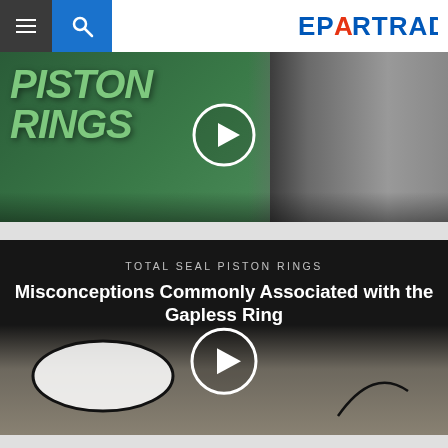EPARTRADE
[Figure (screenshot): Video thumbnail showing green background with PISTON RINGS text and a person speaking on right side, with play button overlay]
[Figure (screenshot): Video thumbnail with dark background, paper with oval ring drawn on it, play button, text: TOTAL SEAL PISTON RINGS - Misconceptions Commonly Associated with the Gapless Ring]
Misconceptions Commonly Associated with the Gapless Ring
TOTAL SEAL PISTON RINGS